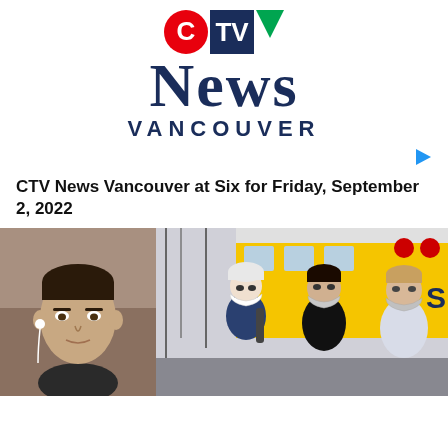[Figure (logo): CTV News Vancouver logo with red C circle, blue TV letters, green triangle, bold serif NEWS text, and VANCOUVER in spaced sans-serif]
[Figure (other): Small blue right-pointing play arrow triangle]
CTV News Vancouver at Six for Friday, September 2, 2022
[Figure (photo): Headshot of a man with dark hair and white earbuds against an indoor background]
[Figure (photo): Three students wearing masks walking in front of a yellow school bus in winter]